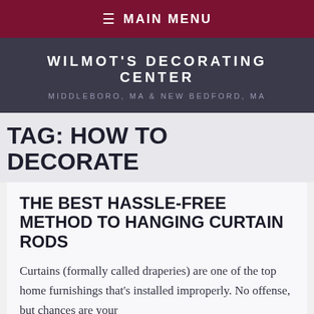≡ MAIN MENU
WILMOT'S DECORATING CENTER
MIDDLEBORO, MA & NEW BEDFORD, MA
TAG: HOW TO DECORATE
THE BEST HASSLE-FREE METHOD TO HANGING CURTAIN RODS
Curtains (formally called draperies) are one of the top home furnishings that's installed improperly. No offense, but chances are your